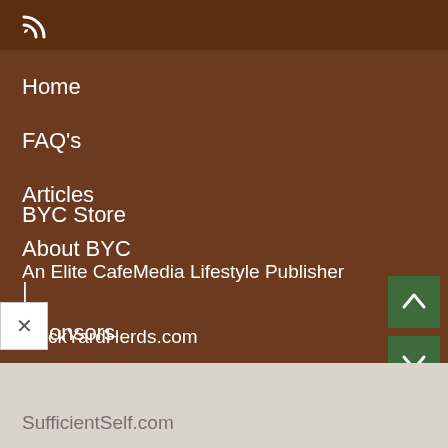[Figure (screenshot): RSS/feed icon in top bar]
Home
FAQ's
Articles
About BYC
|
Sponsors
BYC Store
An Elite CafeMedia Lifestyle Publisher
ckYardHerds.com
SufficientSelf.com